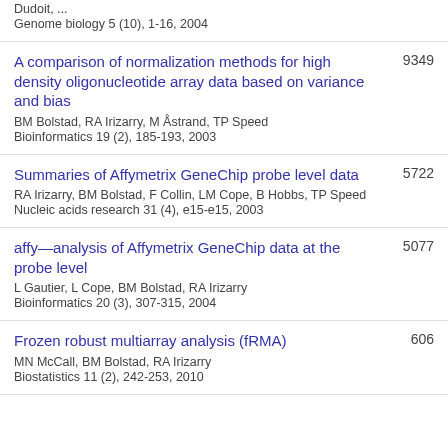Dudoit, ...
Genome biology 5 (10), 1-16, 2004
A comparison of normalization methods for high density oligonucleotide array data based on variance and bias
BM Bolstad, RA Irizarry, M Åstrand, TP Speed
Bioinformatics 19 (2), 185-193, 2003
9349
Summaries of Affymetrix GeneChip probe level data
RA Irizarry, BM Bolstad, F Collin, LM Cope, B Hobbs, TP Speed
Nucleic acids research 31 (4), e15-e15, 2003
5722
affy—analysis of Affymetrix GeneChip data at the probe level
L Gautier, L Cope, BM Bolstad, RA Irizarry
Bioinformatics 20 (3), 307-315, 2004
5077
Frozen robust multiarray analysis (fRMA)
MN McCall, BM Bolstad, RA Irizarry
Biostatistics 11 (2), 242-253, 2010
606